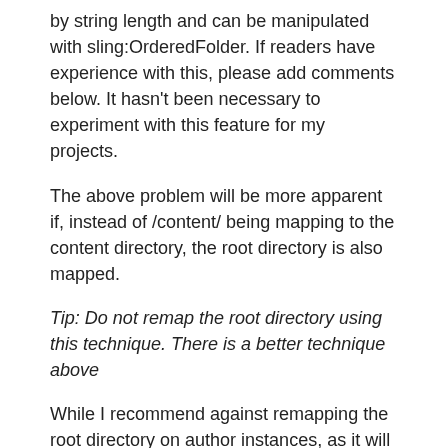by string length and can be manipulated with sling:OrderedFolder. If readers have experience with this, please add comments below. It hasn't been necessary to experiment with this feature for my projects.
The above problem will be more apparent if, instead of /content/ being mapping to the content directory, the root directory is also mapped.
Tip: Do not remap the root directory using this technique. There is a better technique above
While I recommend against remapping the root directory on author instances, as it will break things like authentication and CRX, it can still be done. In which case, the following directories also need to be remapped to point to themselves:
\apps\
\content\dam\